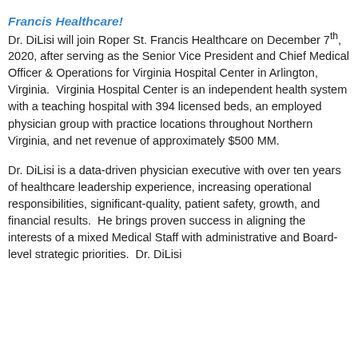Francis Healthcare!
Dr. DiLisi will join Roper St. Francis Healthcare on December 7th, 2020, after serving as the Senior Vice President and Chief Medical Officer & Operations for Virginia Hospital Center in Arlington, Virginia.  Virginia Hospital Center is an independent health system with a teaching hospital with 394 licensed beds, an employed physician group with practice locations throughout Northern Virginia, and net revenue of approximately $500 MM.
Dr. DiLisi is a data-driven physician executive with over ten years of healthcare leadership experience, increasing operational responsibilities, significant-quality, patient safety, growth, and financial results.  He brings proven success in aligning the interests of a mixed Medical Staff with administrative and Board-level strategic priorities.  Dr. DiLisi